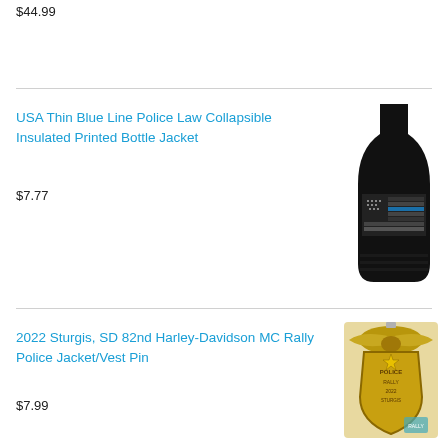$44.99
USA Thin Blue Line Police Law Collapsible Insulated Printed Bottle Jacket
$7.77
[Figure (photo): Black collapsible insulated bottle jacket with thin blue line USA flag printed on it]
2022 Sturgis, SD 82nd Harley-Davidson MC Rally Police Jacket/Vest Pin
$7.99
[Figure (photo): Gold police badge pin for 2022 Sturgis SD 82nd Harley-Davidson MC Rally]